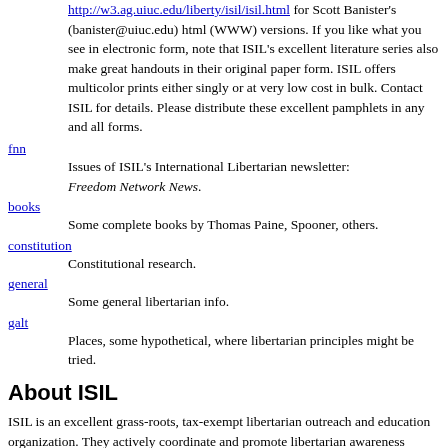http://w3.ag.uiuc.edu/liberty/isil/isil.html for Scott Banister's (banister@uiuc.edu) html (WWW) versions. If you like what you see in electronic form, note that ISIL's excellent literature series also make great handouts in their original paper form. ISIL offers multicolor prints either singly or at very low cost in bulk. Contact ISIL for details. Please distribute these excellent pamphlets in any and all forms.
fnn — Issues of ISIL's International Libertarian newsletter: Freedom Network News.
books — Some complete books by Thomas Paine, Spooner, others.
constitution — Constitutional research.
general — Some general libertarian info.
galt — Places, some hypothetical, where libertarian principles might be tried.
About ISIL
ISIL is an excellent grass-roots, tax-exempt libertarian outreach and education organization. They actively coordinate and promote libertarian awareness throughout the world. ISIL...